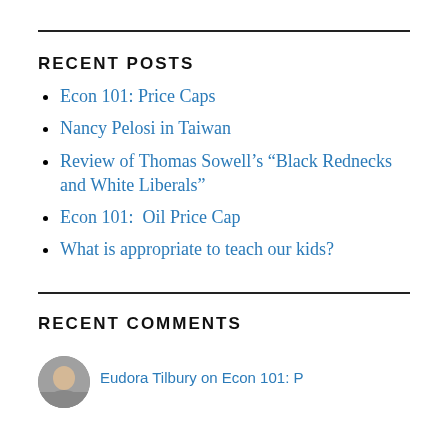RECENT POSTS
Econ 101: Price Caps
Nancy Pelosi in Taiwan
Review of Thomas Sowell’s “Black Rednecks and White Liberals”
Econ 101:  Oil Price Cap
What is appropriate to teach our kids?
RECENT COMMENTS
[Figure (photo): Circular avatar photo of a person, partially visible at bottom of page]